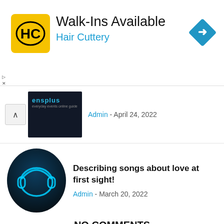[Figure (logo): Hair Cuttery advertisement banner with HC logo on yellow background, Walk-Ins Available text, and blue turn arrow diamond icon]
[Figure (screenshot): Partial blog post thumbnail showing dark background with 'ensplus' text in blue, with Admin - April 24, 2022 metadata]
Describing songs about love at first sight!
Admin - March 20, 2022
NO COMMENTS
LEAVE A REPLY
Comment: